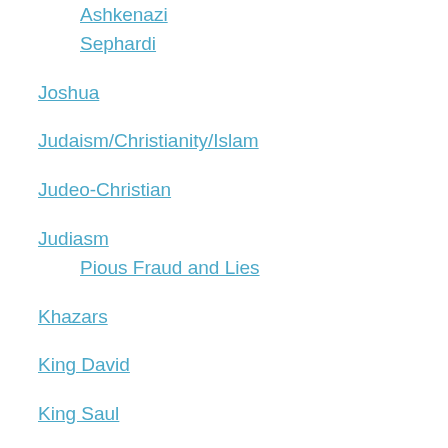Ashkenazi
Sephardi
Joshua
Judaism/Christianity/Islam
Judeo-Christian
Judiasm
Pious Fraud and Lies
Khazars
King David
King Saul
King Solomon